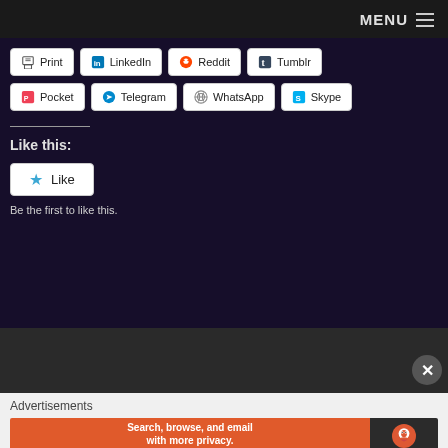MENU ≡
Print
LinkedIn
Reddit
Tumblr
Pocket
Telegram
WhatsApp
Skype
Like this:
Be the first to like this.
Advertisements
[Figure (screenshot): DuckDuckGo advertisement banner: 'Search, browse, and email with more privacy. All in One Free App' with DuckDuckGo logo on dark right panel]